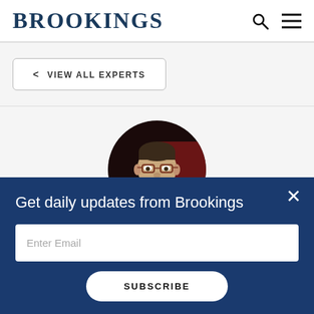BROOKINGS
< VIEW ALL EXPERTS
[Figure (photo): Circular portrait photo of a man wearing glasses and a suit, photographed against a blurred red/dark background.]
Get daily updates from Brookings
Enter Email
SUBSCRIBE